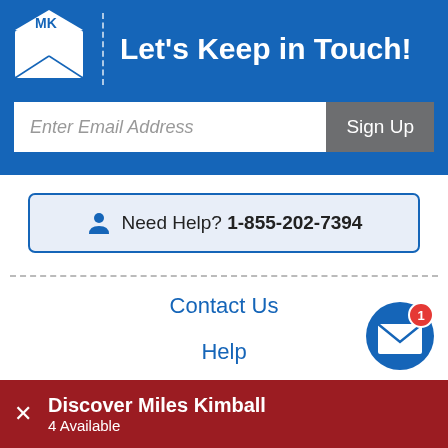Let's Keep in Touch!
Enter Email Address
Sign Up
Need Help? 1-855-202-7394
Contact Us
Help
Shipping
[Figure (infographic): Blue circular message/envelope notification icon with red badge showing number 1]
Discover Miles Kimball
4 Available